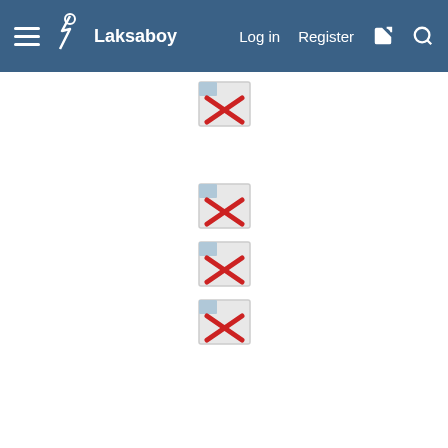Laksaboy  Log in  Register
[Figure (other): Broken image icons (red X placeholders) in the top content area]
sgbeautycastle
Myth  Member
Nov 22, 2020  #57
Please visit our official website below for the latest update of all gals!!!
[Figure (other): Broken image icon at bottom of page]